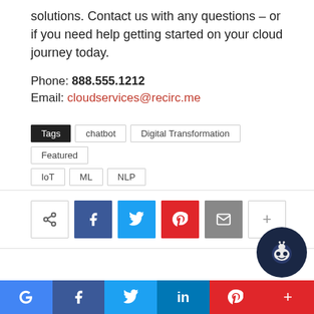solutions. Contact us with any questions – or if you need help getting started on your cloud journey today.
Phone: 888.555.1212
Email: cloudservices@recirc.me
Tags  chatbot  Digital Transformation  Featured  IoT  ML  NLP
[Figure (infographic): Social sharing buttons row: share icon, Facebook (blue), Twitter (cyan), Pinterest (red), Email (grey), More (+). Below a divider, a row of social bar icons: Google (blue), Facebook (dark blue), Twitter (cyan), LinkedIn (blue), Pinterest (red), More (red). A dark navy circle chatbot icon at bottom right.]